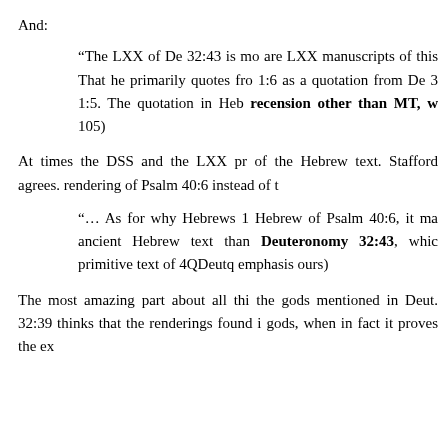And:
“The LXX of De 32:43 is mo are LXX manuscripts of this That he primarily quotes fro 1:6 as a quotation from De 3 1:5. The quotation in Heb recension other than MT, w 105)
At times the DSS and the LXX pr of the Hebrew text. Stafford agrees. rendering of Psalm 40:6 instead of t
“… As for why Hebrews 1 Hebrew of Psalm 40:6, it ma ancient Hebrew text than Deuteronomy 32:43, whic primitive text of 4QDeutq emphasis ours)
The most amazing part about all thi the gods mentioned in Deut. 32:39 thinks that the renderings found i gods, when in fact it proves the ex